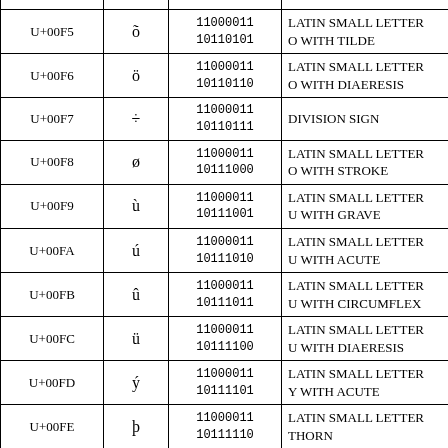| Code | Glyph | Binary | Name |
| --- | --- | --- | --- |
| U+00F5 | õ | 11000011
10110101 | LATIN SMALL LETTER O WITH TILDE |
| U+00F6 | ö | 11000011
10110110 | LATIN SMALL LETTER O WITH DIAERESIS |
| U+00F7 | ÷ | 11000011
10110111 | DIVISION SIGN |
| U+00F8 | ø | 11000011
10111000 | LATIN SMALL LETTER O WITH STROKE |
| U+00F9 | ù | 11000011
10111001 | LATIN SMALL LETTER U WITH GRAVE |
| U+00FA | ú | 11000011
10111010 | LATIN SMALL LETTER U WITH ACUTE |
| U+00FB | û | 11000011
10111011 | LATIN SMALL LETTER U WITH CIRCUMFLEX |
| U+00FC | ü | 11000011
10111100 | LATIN SMALL LETTER U WITH DIAERESIS |
| U+00FD | ý | 11000011
10111101 | LATIN SMALL LETTER Y WITH ACUTE |
| U+00FE | þ | 11000011
10111110 | LATIN SMALL LETTER THORN |
| U+00FF | ÿ | 11000011
10111111 | LATIN SMALL LETTER Y WITH DIAERESIS |